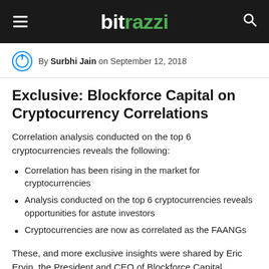bitrazzi
By Surbhi Jain on September 12, 2018
Exclusive: Blockforce Capital on Cryptocurrency Correlations
Correlation analysis conducted on the top 6 cryptocurrencies reveals the following:
Correlation has been rising in the market for cryptocurrencies
Analysis conducted on the top 6 cryptocurrencies reveals opportunities for astute investors
Cryptocurrencies are now as correlated as the FAANGs
These, and more exclusive insights were shared by Eric Ervin, the President and CEO of Blockforce Capital (formerly Reality Shares) and David Martin, the MD for Quantitative Strategies at Blockforce Capital. Bitrazzi recently got in touch with Ervin